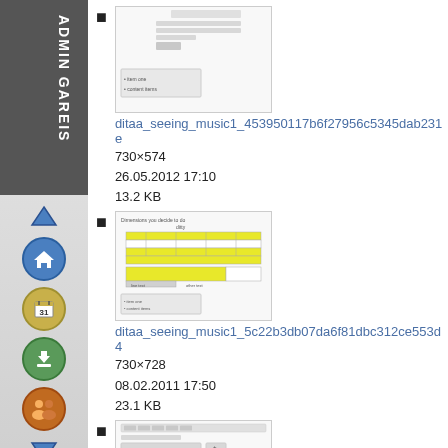[Figure (screenshot): Left navigation sidebar with logo text ADMIN GAREIS, navigation icons including up arrow, home, calendar (31), download, users, and down arrow]
ditaa_seeing_music1_453950117b6f27956c5345dab231e
730×574
26.05.2012 17:10
13.2 KB
ditaa_seeing_music1_5c22b3db07da6f81dbc312ce553d4
730×728
08.02.2011 17:50
23.1 KB
ditaa_seeing_music1_5cd38329c7a1b16fe12a45dcf2098
730×574